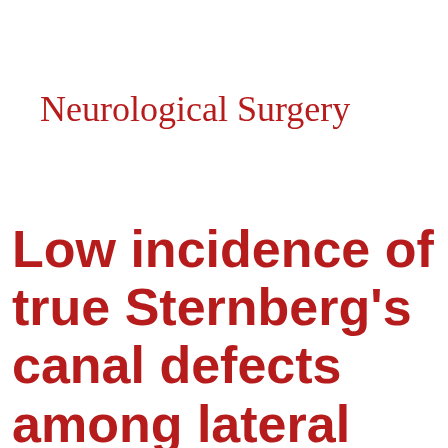Neurological Surgery
Low incidence of true Sternberg's canal defects among lateral sphenoid sinus encephaloceles